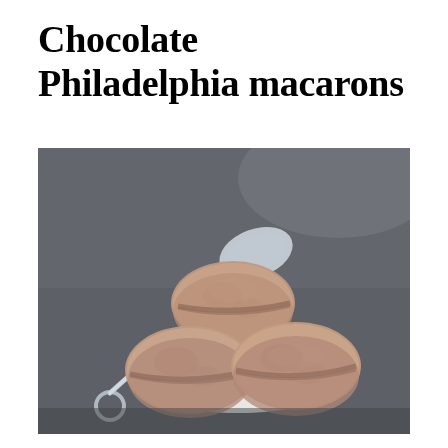Chocolate Philadelphia macarons
[Figure (photo): Three chocolate macarons in a white fluted paper cup/liner, sitting on a dark slate surface. A silver decorative spoon rests alongside and behind the macarons. The macarons are filled with dark chocolate ganache and have a rustic, crinkled surface.]